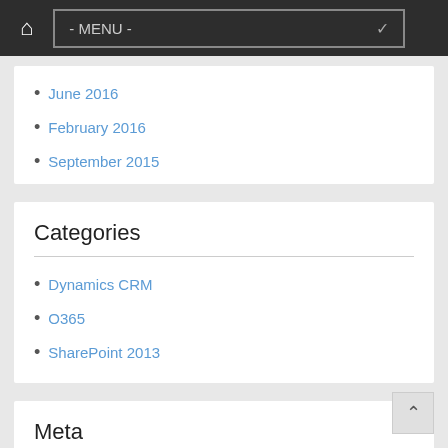Home - MENU -
June 2016
February 2016
September 2015
Categories
Dynamics CRM
O365
SharePoint 2013
Meta
Log in
Entries feed